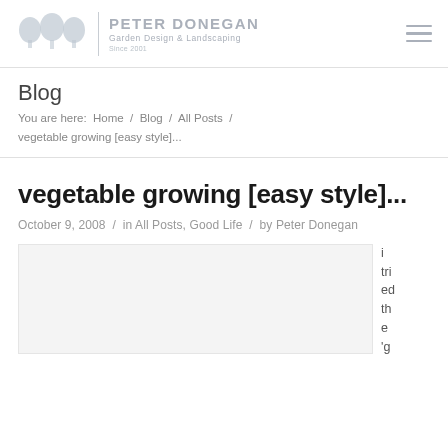PETER DONEGAN Garden Design & Landscaping Since 2001
Blog
You are here: Home / Blog / All Posts / vegetable growing [easy style]...
vegetable growing [easy style]...
October 9, 2008 / in All Posts, Good Life / by Peter Donegan
[Figure (photo): Article image placeholder box]
i tried the 'goi